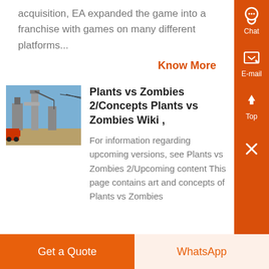acquisition, EA expanded the game into a franchise with games on many different platforms...
Know More
[Figure (photo): Industrial facility with large machinery and cranes against a blue sky]
Plants vs Zombies 2/Concepts Plants vs Zombies Wiki ,
For information regarding upcoming versions, see Plants vs Zombies 2/Upcoming content This page contains art and concepts of Plants vs Zombies
Get a Quote
WhatsApp